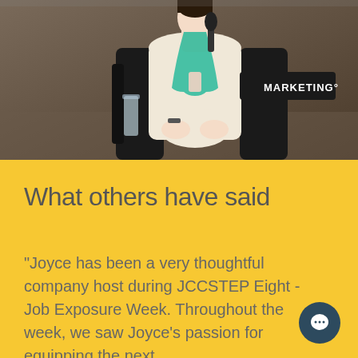[Figure (photo): A woman in a cream/beige blazer with a teal lanyard sitting on stage at a marketing conference, holding a microphone, with dark chairs and a 'MARKETING' sign visible in the background]
What others have said
"Joyce has been a very thoughtful company host during JCCSTEP Eight - Job Exposure Week. Throughout the week, we saw Joyce's passion for equipping the next